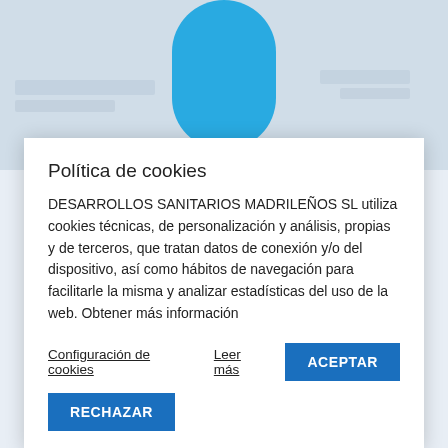[Figure (photo): Background photo showing medical setting with a blue rounded-top shape (person or bottle silhouette) in the center against blurred shelves]
Política de cookies
DESARROLLOS SANITARIOS MADRILEÑOS SL utiliza cookies técnicas, de personalización y análisis, propias y de terceros, que tratan datos de conexión y/o del dispositivo, así como hábitos de navegación para facilitarle la misma y analizar estadísticas del uso de la web. Obtener más información
Configuración de cookies   Leer más   ACEPTAR
RECHAZAR
Endocrinología y nutrición